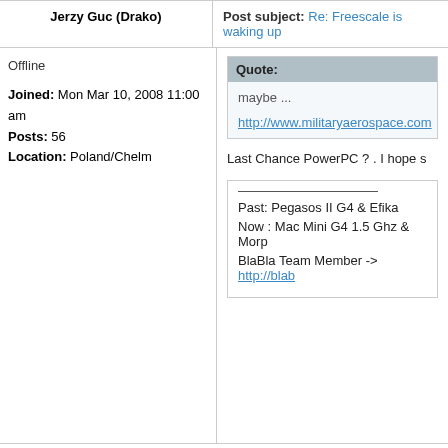Jerzy Guc (Drako)
Post subject: Re: Freescale is waking up
Offline
Joined: Mon Mar 10, 2008 11:00 am
Posts: 56
Location: Poland/Chelm
Quote:
maybe ...
http://www.militaryaerospace.com
Last Chance PowerPC ? . I hope s
Past: Pegasos II G4 & Efika
Now : Mac Mini G4 1.5 Ghz & Morp
BlaBla Team Member -> http://blab